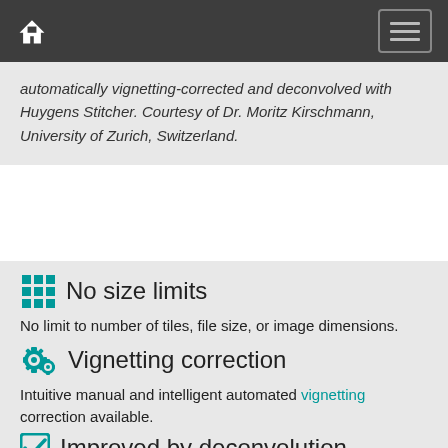Home navigation bar with menu button
automatically vignetting-corrected and deconvolved with Huygens Stitcher. Courtesy of Dr. Moritz Kirschmann, University of Zurich, Switzerland.
No size limits
No limit to number of tiles, file size, or image dimensions.
Vignetting correction
Intuitive manual and intelligent automated vignetting correction available.
Improved by deconvolution